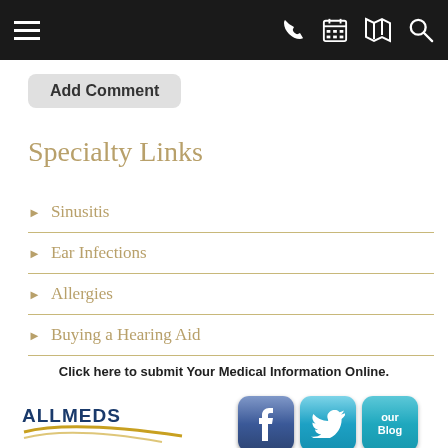Navigation bar with hamburger menu, phone, calendar, map, and search icons
Add Comment
Specialty Links
Sinusitis
Ear Infections
Allergies
Buying a Hearing Aid
Click here to submit Your Medical Information Online.
[Figure (logo): ALLMEDS logo with gold swoosh]
[Figure (illustration): Facebook, Twitter, and our Blog social media buttons]